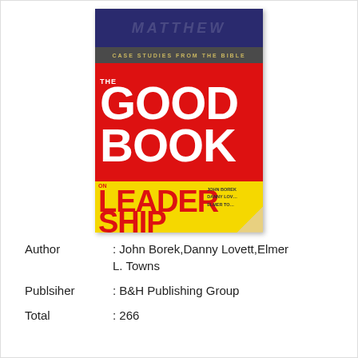[Figure (illustration): Book cover of 'The Good Book on Leadership' by John Borek, Danny Lovett, Elmer L. Towns. Published by B&H Publishing Group. Cover shows dark blue top band with faint text, 'Case Studies from the Bible' subtitle band, large red section with 'THE GOOD BOOK' in white bold text, and yellow bottom section with 'ON LEADERSHIP' in red bold text, plus author names and a page curl effect.]
Author        : John Borek,Danny Lovett,Elmer L. Towns
Publsiher     : B&H Publishing Group
Total         : 266